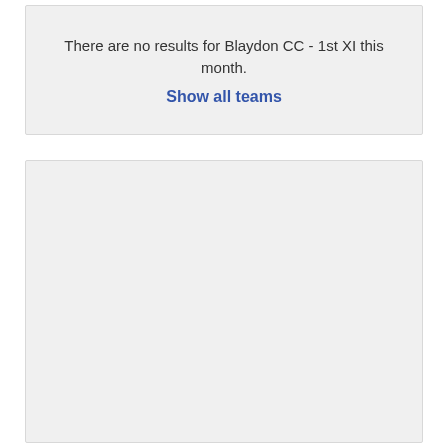There are no results for Blaydon CC - 1st XI this month.
Show all teams